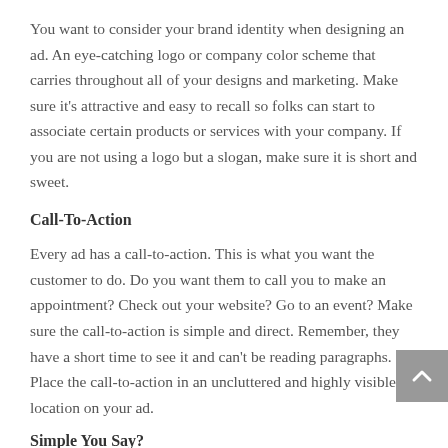You want to consider your brand identity when designing an ad.  An eye-catching logo or company color scheme that carries throughout all of your designs and marketing.  Make sure it's attractive and easy to recall so folks can start to associate certain products or services with your company.  If you are not using a logo but a slogan, make sure it is short and sweet.
Call-To-Action
Every ad has a call-to-action.  This is what you want the customer to do.  Do you want them to call you to make an appointment?  Check out your website?  Go to an event?  Make sure the call-to-action is simple and direct.  Remember, they have a short time to see it and can't be reading paragraphs.  Place the call-to-action in an uncluttered and highly visible location on your ad.
Simple You Say?